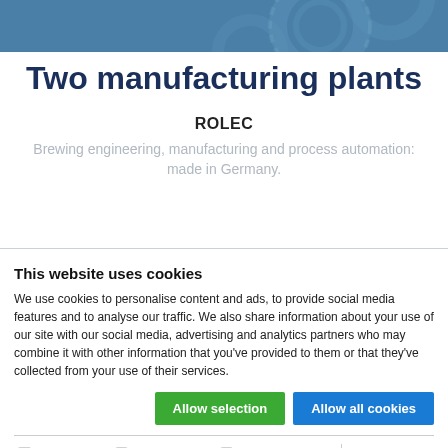[Figure (illustration): Blue header banner with decorative gear/cog wheel pattern in lighter blue tones]
Two manufacturing plants
ROLEC
Brewing engineering, manufacturing and process automation: made in Germany.
This website uses cookies
We use cookies to personalise content and ads, to provide social media features and to analyse our traffic. We also share information about your use of our site with our social media, advertising and analytics partners who may combine it with other information that you've provided to them or that they've collected from your use of their services.
Allow selection | Allow all cookies
Necessary  Preferences  Statistics  Marketing  Show details